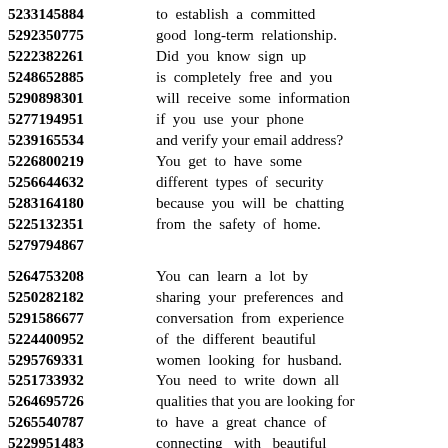5233145884 to establish a committed
5292350775 good long-term relationship.
5222382261 Did you know sign up
5248652885 is completely free and you
5290898301 will receive some information
5277194951 if you use your phone
5239165534 and verify your email address?
5226800219 You get to have some
5256644632 different types of security
5283164180 because you will be chatting
5225132351 from the safety of home.
5279794867
5264753208 You can learn a lot by
5250282182 sharing your preferences and
5291586677 conversation from experience
5224400952 of the different beautiful
5295769331 women looking for husband.
5251733932 You need to write down all
5264695726 qualities that you are looking for
5265540787 to have a great chance of
5229951483 connecting with beautiful
5246249506 woman seeking man with
5233437626 good character and personality.
5232881922 It's just you and your partner
5272125612 have access to your messages,